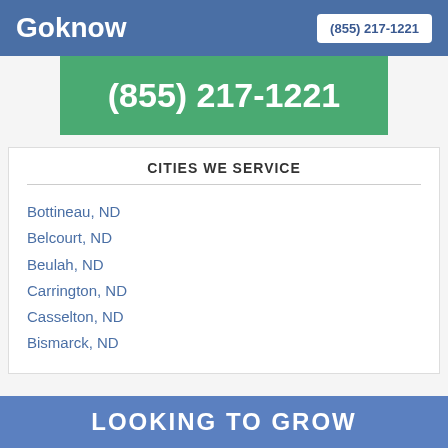Goknow | (855) 217-1221
(855) 217-1221
CITIES WE SERVICE
Bottineau, ND
Belcourt, ND
Beulah, ND
Carrington, ND
Casselton, ND
Bismarck, ND
LOOKING TO GROW